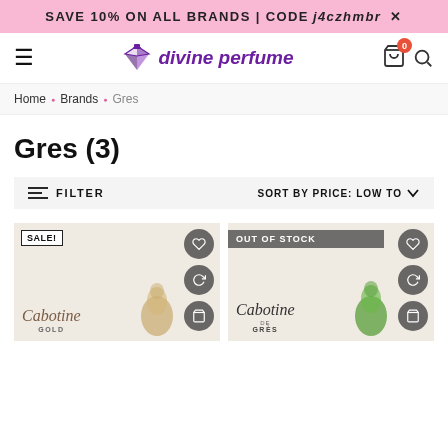SAVE 10% ON ALL BRANDS | CODE j4czhmbr ×
[Figure (logo): Divine Perfume logo with diamond/gem icon and italic purple text]
Home • Brands • Gres
Gres (3)
≡ FILTER   SORT BY PRICE: LOW TO ∨
[Figure (photo): Cabotine Gold perfume box and bottle with gold sculptural element - SALE! badge]
[Figure (photo): Cabotine De Grès perfume box and green sculptural bottle element - OUT OF STOCK badge]